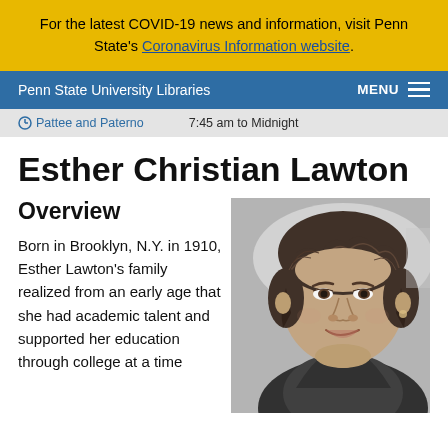For the latest COVID-19 news and information, visit Penn State's Coronavirus Information website.
Penn State University Libraries  MENU
Pattee and Paterno  7:45 am to Midnight
Esther Christian Lawton
Overview
Born in Brooklyn, N.Y. in 1910, Esther Lawton's family realized from an early age that she had academic talent and supported her education through college at a time
[Figure (photo): Black and white portrait photograph of Esther Christian Lawton, a woman with dark curled hair, smiling, wearing a collared jacket]